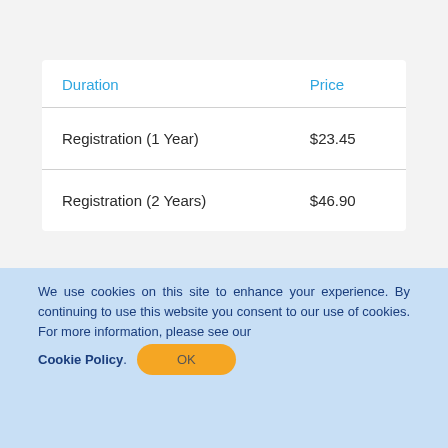| Duration | Price |
| --- | --- |
| Registration (1 Year) | $23.45 |
| Registration (2 Years) | $46.90 |
We use cookies on this site to enhance your experience. By continuing to use this website you consent to our use of cookies. For more information, please see our Cookie Policy.